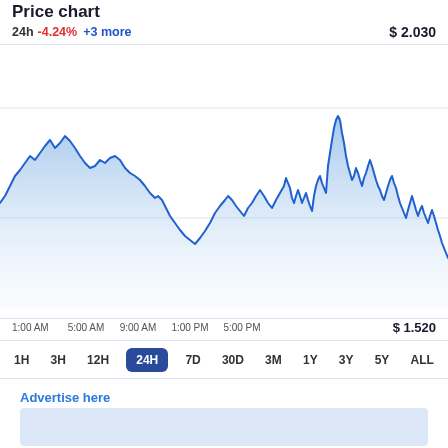Price chart
24h -4.24% +3 more   $ 2.030
[Figure (continuous-plot): 24-hour price chart with blue area fill showing volatile price movement throughout the day, starting around $2.030 high, dropping mid-morning, rising in afternoon, with large peaks visible around 3Y range on the x-axis. Times on x-axis: 1:00 AM, 5:00 AM, 9:00 AM, 1:00 PM, 5:00 PM. High price $2.030, low price $1.520.]
1:00 AM   5:00 AM   9:00 AM   1:00 PM   5:00 PM   $ 1.520
1H  3H  12H  24H  7D  30D  3M  1Y  3Y  5Y  ALL
Advertise here